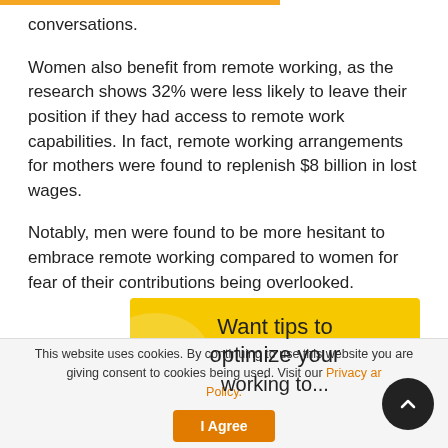conversations.
Women also benefit from remote working, as the research shows 32% were less likely to leave their position if they had access to remote work capabilities. In fact, remote working arrangements for mothers were found to replenish $8 billion in lost wages.
Notably, men were found to be more hesitant to embrace remote working compared to women for fear of their contributions being overlooked.
[Figure (infographic): Yellow banner with text 'Want tips to optimize your...' (partially visible)]
This website uses cookies. By continuing to use this website you are giving consent to cookies being used. Visit our Privacy and Cookie Policy.
I Agree